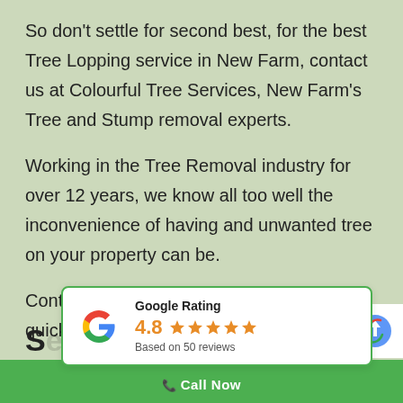So don't settle for second best, for the best Tree Lopping service in New Farm, contact us at Colourful Tree Services, New Farm's Tree and Stump removal experts.
Working in the Tree Removal industry for over 12 years, we know all too well the inconvenience of having and unwanted tree on your property can be.
Contact us at Colourful Tree Lopping for quick and easy solution.
[Figure (other): Google Rating widget showing 4.8 stars based on 50 reviews, with Google G logo and green border]
S...ew Farm
Call Now